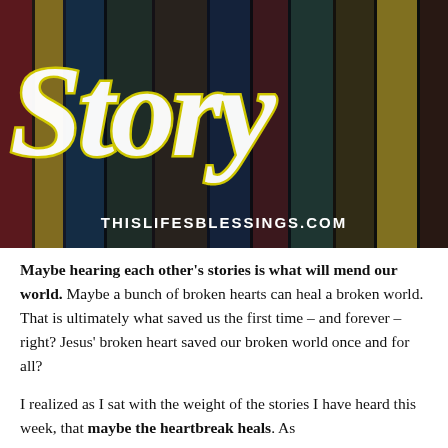[Figure (photo): Photo of colorful book spines arranged vertically on a shelf, with a large cursive/script word 'Story' overlaid in white with yellow outline, and 'THISLIFESBLESSINGS.COM' in white bold text at the bottom of the image.]
Maybe hearing each other's stories is what will mend our world. Maybe a bunch of broken hearts can heal a broken world. That is ultimately what saved us the first time – and forever – right? Jesus' broken heart saved our broken world once and for all?
I realized as I sat with the weight of the stories I have heard this week, that maybe the heartbreak heals. As